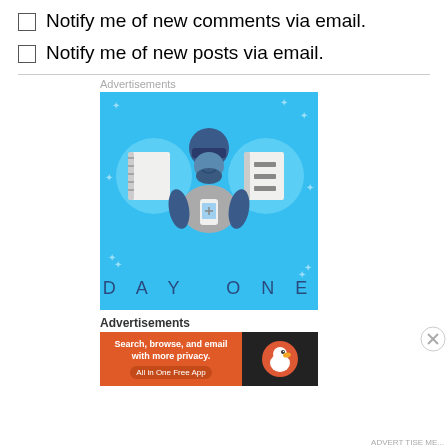Notify me of new comments via email.
Notify me of new posts via email.
Advertisements
[Figure (illustration): Day One app advertisement with blue background, illustrated person wearing VR headset holding a phone, flanked by two spiral notebooks. Text reads DAY ONE at the bottom.]
Advertisements
[Figure (illustration): DuckDuckGo advertisement: orange section with text 'Search, browse, and email with more privacy. All in One Free App', dark section with DuckDuckGo logo duck.]